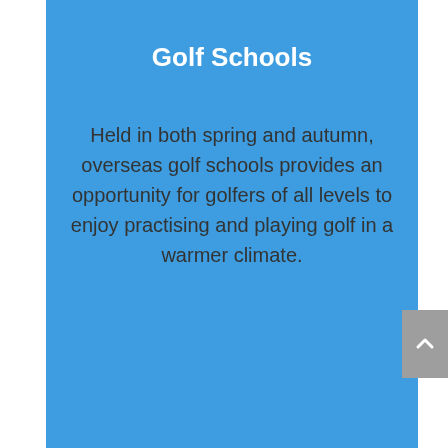Golf Schools
Held in both spring and autumn, overseas golf schools provides an opportunity for golfers of all levels to enjoy practising and playing golf in a warmer climate.